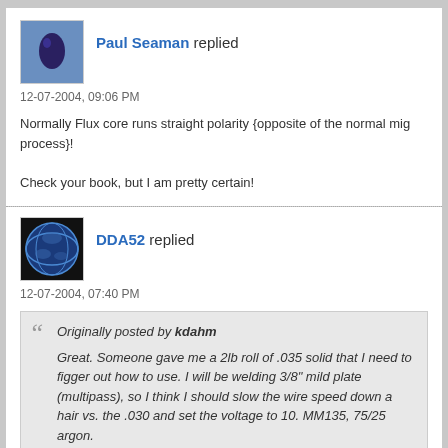[Figure (photo): Avatar photo of Paul Seaman - dark teardrop shape on blue background]
Paul Seaman replied
12-07-2004, 09:06 PM
Normally Flux core runs straight polarity {opposite of the normal mig process}!

Check your book, but I am pretty certain!
[Figure (photo): Avatar photo of DDA52 - globe/earth image on dark background]
DDA52 replied
12-07-2004, 07:40 PM
Originally posted by kdahm
Great. Someone gave me a 2lb roll of .035 solid that I need to figger out how to use. I will be welding 3/8" mild plate (multipass), so I think I should slow the wire speed down a hair vs. the .030 and set the voltage to 10. MM135, 75/25 argon.

Am I right?

Karl